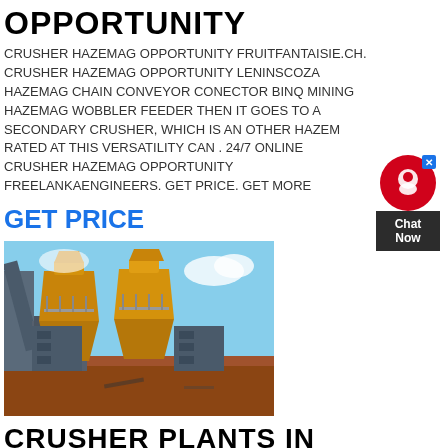OPPORTUNITY
CRUSHER HAZEMAG OPPORTUNITY FRUITFANTAISIE.CH. CRUSHER HAZEMAG OPPORTUNITY LENINSCOZA HAZEMAG CHAIN CONVEYOR CONECTOR BINQ MINING HAZEMAG WOBBLER FEEDER THEN IT GOES TO A SECONDARY CRUSHER, WHICH IS AN OTHER HAZEM RATED AT THIS VERSATILITY CAN . 24/7 ONLINE CRUSHER HAZEMAG OPPORTUNITY FREELANKAENGINEERS. GET PRICE. GET MORE
GET PRICE
[Figure (photo): Industrial crushing plant with two large yellow cone crushers and grey electrical cabinets on a red dirt construction site]
CRUSHER PLANTS IN